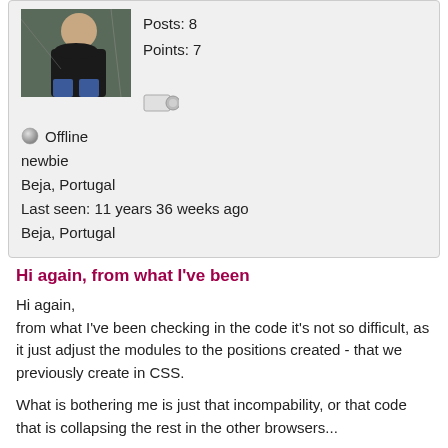[Figure (photo): Profile photo of a young man in a black shirt, sitting outdoors]
Posts: 8
Points: 7
Offline
newbie
Beja, Portugal
Last seen: 11 years 36 weeks ago
Beja, Portugal
Hi again, from what I've been
Hi again,
from what I've been checking in the code it's not so difficult, as it just adjust the modules to the positions created - that we previously create in CSS.

What is bothering me is just that incompability, or that code that is collapsing the rest in the other browsers...
Top